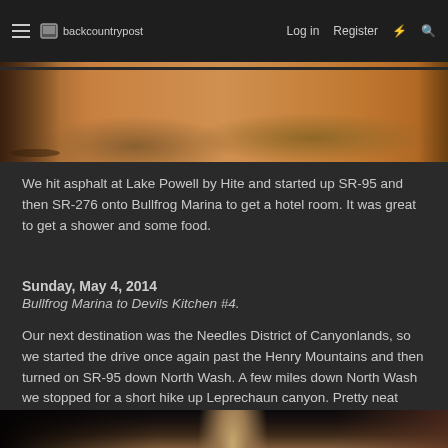backcountrypost | Log in | Register
[Figure (photo): Partial view of desert terrain with sandy/rocky ground, reddish-brown soil, top portion of image visible]
We hit asphalt at Lake Powell by Hite and started up SR-95 and then SR-276 onto Bullfrog Marina to get a hotel room. It was great to get a shower and some food.
Sunday, May 4, 2014
Bullfrog Marina to Devils Kitchen #4.
Our next destination was the Needles District of Canyonlands, so we started the drive once again past the Henry Mountains and then turned on SR-95 down North Wash. A few miles down North Wash we stopped for a short hike up Leprechaun canyon. Pretty neat sandstone canyon.
[Figure (photo): Narrow slot canyon with tall sandstone walls, dark interior with light visible above, reddish-brown rock formations]